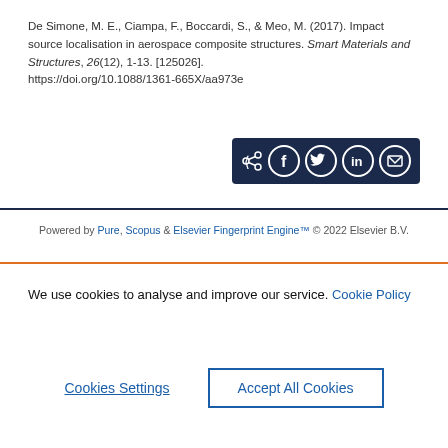De Simone, M. E., Ciampa, F., Boccardi, S., & Meo, M. (2017). Impact source localisation in aerospace composite structures. Smart Materials and Structures, 26(12), 1-13. [125026]. https://doi.org/10.1088/1361-665X/aa973e
[Figure (other): Social share bar with icons for share, Facebook, Twitter, LinkedIn, and email on a dark navy background]
Powered by Pure, Scopus & Elsevier Fingerprint Engine™ © 2022 Elsevier B.V.
We use cookies to analyse and improve our service. Cookie Policy
Cookies Settings
Accept All Cookies